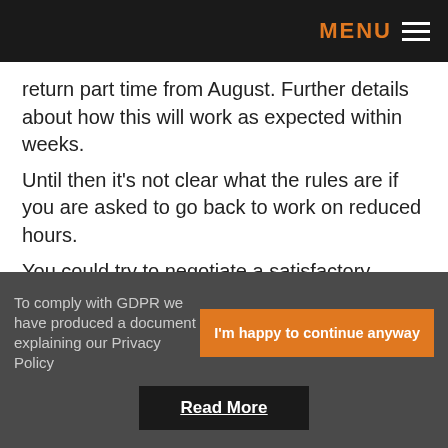MENU
return part time from August. Further details about how this will work as expected within weeks. Until then it’s not clear what the rules are if you are asked to go back to work on reduced hours. You could try to negotiate a satisfactory solution with your employer, such as fewer employees returning to ensure they can have full-time hours, or you could ask to remain on furlough until the details are
To comply with GDPR we have produced a document explaining our Privacy Policy
I’m happy to continue anyway
Read More